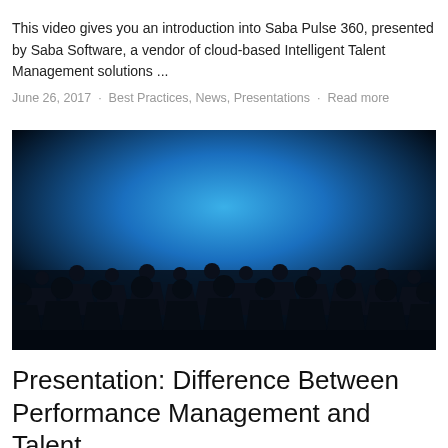This video gives you an introduction into Saba Pulse 360, presented by Saba Software, a vendor of cloud-based Intelligent Talent Management solutions ...
June 26, 2017 · Best Practices, News, Presentations · Read more
[Figure (photo): Dark silhouettes of a crowd of people against a bright blue radial gradient background, suggesting an audience or workforce group]
Presentation: Difference Between Performance Management and Talent